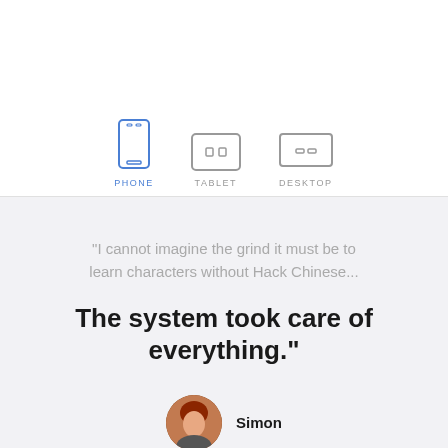[Figure (infographic): Three device icons (phone, tablet, desktop) with labels below. Phone icon is highlighted in blue (active), tablet and desktop in gray.]
"I cannot imagine the grind it must be to learn characters without Hack Chinese...
The system took care of everything."
Simon